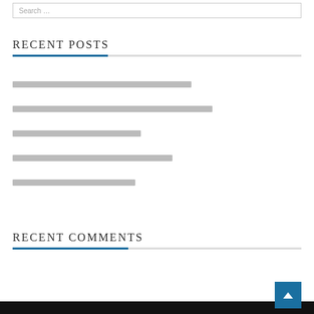Search …
RECENT POSTS
[redacted link 1]
[redacted link 2]
[redacted link 3]
[redacted link 4]
[redacted link 5]
RECENT COMMENTS